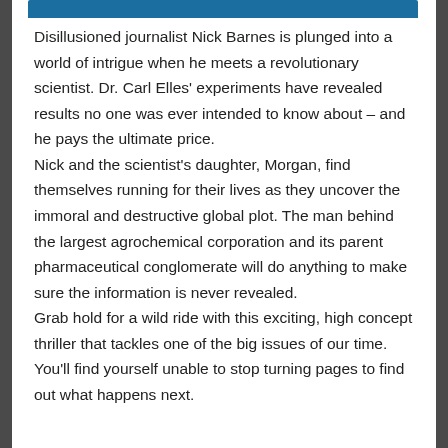Disillusioned journalist Nick Barnes is plunged into a world of intrigue when he meets a revolutionary scientist. Dr. Carl Elles' experiments have revealed results no one was ever intended to know about – and he pays the ultimate price. Nick and the scientist's daughter, Morgan, find themselves running for their lives as they uncover the immoral and destructive global plot. The man behind the largest agrochemical corporation and its parent pharmaceutical conglomerate will do anything to make sure the information is never revealed. Grab hold for a wild ride with this exciting, high concept thriller that tackles one of the big issues of our time. You'll find yourself unable to stop turning pages to find out what happens next.